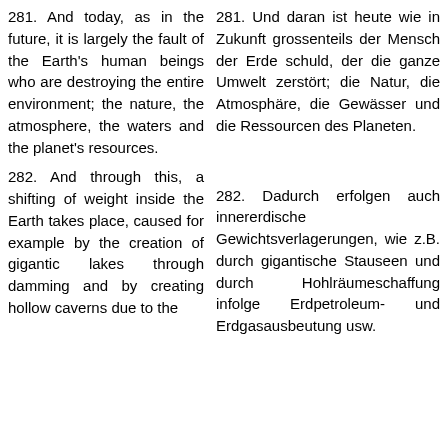281. And today, as in the future, it is largely the fault of the Earth's human beings who are destroying the entire environment; the nature, the atmosphere, the waters and the planet's resources.
281. Und daran ist heute wie in Zukunft grossenteils der Mensch der Erde schuld, der die ganze Umwelt zerstört; die Natur, die Atmosphäre, die Gewässer und die Ressourcen des Planeten.
282. And through this, a shifting of weight inside the Earth takes place, caused for example by the creation of gigantic lakes through damming and by creating hollow caverns due to the
282. Dadurch erfolgen auch innererdische Gewichtsverlagerungen, wie z.B. durch gigantische Stauseen und durch Hohlräumeschaffung infolge Erdpetroleum- und Erdgasausbeutung usw.